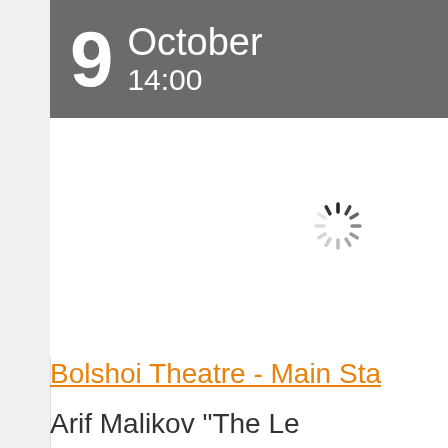9 October 14:00
[Figure (other): Loading spinner / activity indicator showing a circular loading animation with radiating spokes in grayscale]
Bolshoi Theatre - Main Sta
Arif Malikov "The Le